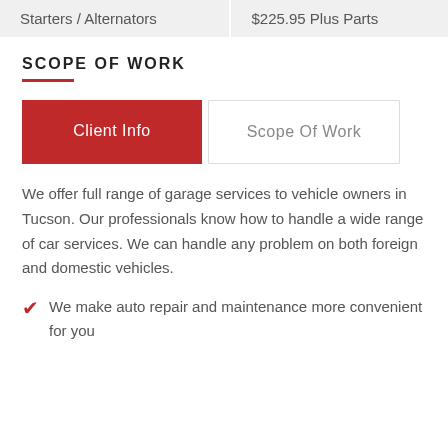| Starters / Alternators | $225.95 Plus Parts |
SCOPE OF WORK
Client Info | Scope Of Work
We offer full range of garage services to vehicle owners in Tucson. Our professionals know how to handle a wide range of car services. We can handle any problem on both foreign and domestic vehicles.
We make auto repair and maintenance more convenient for you